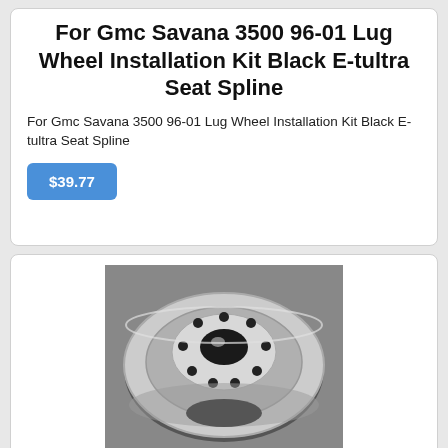For Gmc Savana 3500 96-01 Lug Wheel Installation Kit Black E-tultra Seat Spline
For Gmc Savana 3500 96-01 Lug Wheel Installation Kit Black E-tultra Seat Spline
$39.77
[Figure (photo): White steel wheel/rim photographed from above on a gray surface, showing 8 lug holes and a center bore opening.]